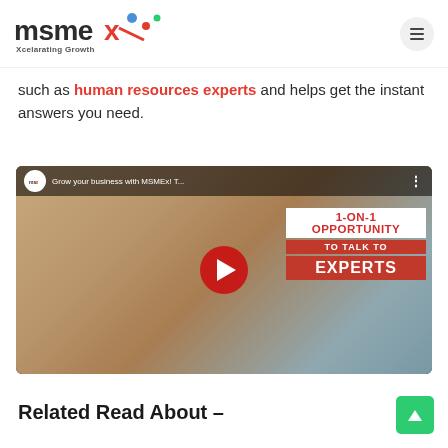[Figure (logo): MSMEx logo with tagline 'Xcelarating Growth' and colorful dots]
such as human resources experts and helps get the instant answers you need.
[Figure (screenshot): YouTube video thumbnail for 'Grow your business with MSMEx! T...' showing a man in a brown blazer with text overlay '1-ON-1 OPPORTUNITY TO TALK TO EXPERTS' and a red play button]
Related Read About –